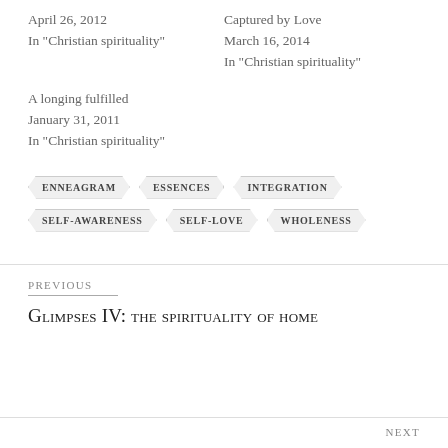April 26, 2012
In "Christian spirituality"
Captured by Love
March 16, 2014
In "Christian spirituality"
A longing fulfilled
January 31, 2011
In "Christian spirituality"
ENNEAGRAM
ESSENCES
INTEGRATION
SELF-AWARENESS
SELF-LOVE
WHOLENESS
PREVIOUS
Glimpses IV: the spirituality of home
NEXT